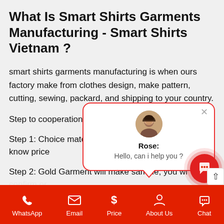What Is Smart Shirts Garments Manufacturing - Smart Shirts Vietnam ?
smart shirts garments manufacturing is when ours factory make from clothes design, make pattern, cutting, sewing, packard, and shipping to your country.
Step to cooperation with
Step 1: Choice material and know price
Step 2: Gold Garment will make sample, you will confirm or request modify.
[Figure (screenshot): Chat popup with avatar of Rose saying Hello, can i help you ?]
WhatsApp  Email  Price  About Us  Chat